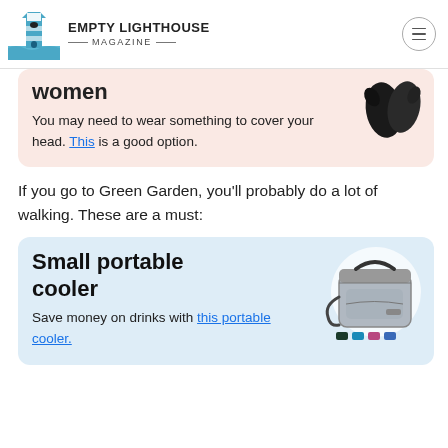EMPTY LIGHTHOUSE MAGAZINE
women
You may need to wear something to cover your head. This is a good option.
If you go to Green Garden, you'll probably do a lot of walking. These are a must:
Small portable cooler
Save money on drinks with this portable cooler.